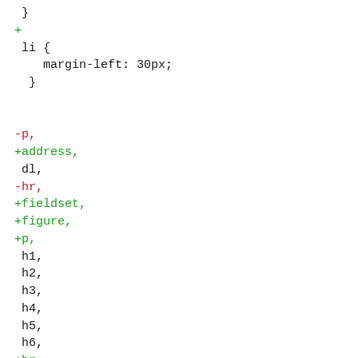} 
+ 
 li {
    margin-left: 30px;
  }


-p,
+address,
 dl,
-hr,
+fieldset,
+figure,
+p,
 h1,
 h2,
 h3,
 h4,
 h5,
 h6,
+hr,
 ol,
 ul,